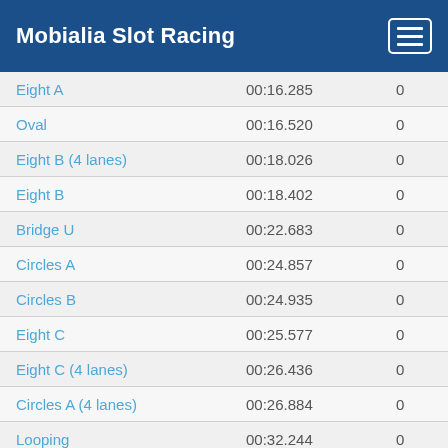Mobialia Slot Racing
|  |  |  |
| --- | --- | --- |
| Eight A | 00:16.285 | 0 |
| Oval | 00:16.520 | 0 |
| Eight B (4 lanes) | 00:18.026 | 0 |
| Eight B | 00:18.402 | 0 |
| Bridge U | 00:22.683 | 0 |
| Circles A | 00:24.857 | 0 |
| Circles B | 00:24.935 | 0 |
| Eight C | 00:25.577 | 0 |
| Eight C (4 lanes) | 00:26.436 | 0 |
| Circles A (4 lanes) | 00:26.884 | 0 |
| Looping | 00:32.244 | 0 |